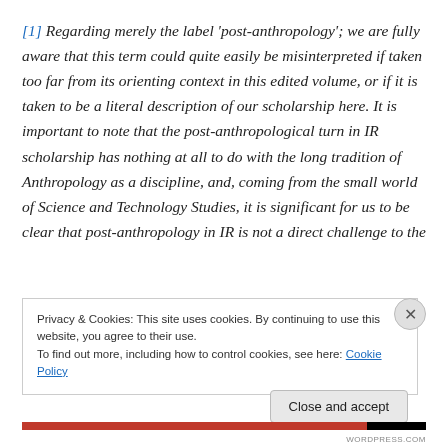[1] Regarding merely the label 'post-anthropology'; we are fully aware that this term could quite easily be misinterpreted if taken too far from its orienting context in this edited volume, or if it is taken to be a literal description of our scholarship here. It is important to note that the post-anthropological turn in IR scholarship has nothing at all to do with the long tradition of Anthropology as a discipline, and, coming from the small world of Science and Technology Studies, it is significant for us to be clear that post-anthropology in IR is not a direct challenge to the
Privacy & Cookies: This site uses cookies. By continuing to use this website, you agree to their use.
To find out more, including how to control cookies, see here: Cookie Policy
Close and accept